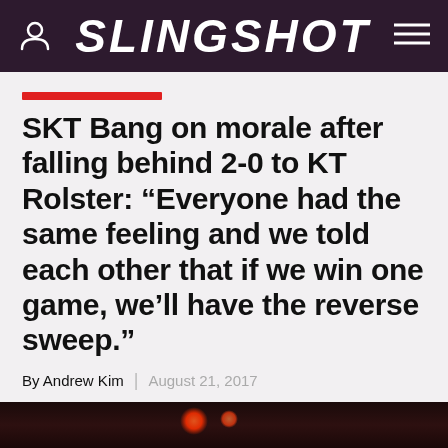SLINGSHOT
SKT Bang on morale after falling behind 2-0 to KT Rolster: “Everyone had the same feeling and we told each other that if we win one game, we’ll have the reverse sweep.”
By Andrew Kim | August 21, 2017
[Figure (other): Social sharing icons: Reddit, Twitter, Facebook]
[Figure (photo): Dark photo strip at the bottom of the page with orange/red light bokeh]